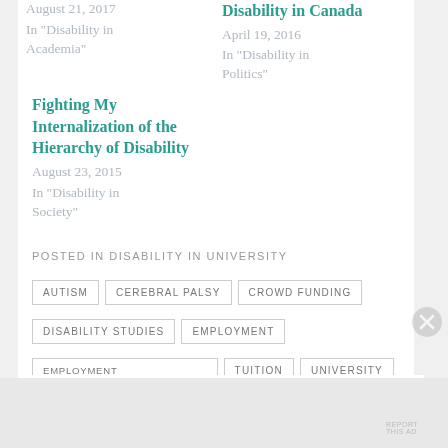August 21, 2017
In "Disability in Academia"
Disability in Canada
April 19, 2016
In "Disability in Politics"
Fighting My Internalization of the Hierarchy of Disability
August 23, 2015
In "Disability in Society"
POSTED IN DISABILITY IN UNIVERSITY
AUTISM
CEREBRAL PALSY
CROWD FUNDING
DISABILITY STUDIES
EMPLOYMENT
EMPLOYMENT DISCRIMINATION
TUITION
UNIVERSITY
Advertisements